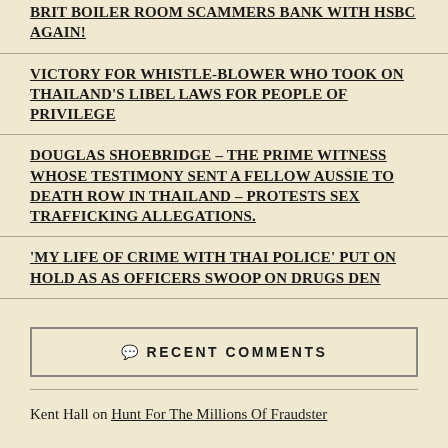BRIT BOILER ROOM SCAMMERS BANK WITH HSBC AGAIN!
VICTORY FOR WHISTLE-BLOWER WHO TOOK ON THAILAND'S LIBEL LAWS FOR PEOPLE OF PRIVILEGE
DOUGLAS SHOEBRIDGE – THE PRIME WITNESS WHOSE TESTIMONY SENT A FELLOW AUSSIE TO DEATH ROW IN THAILAND – PROTESTS SEX TRAFFICKING ALLEGATIONS.
'MY LIFE OF CRIME WITH THAI POLICE' PUT ON HOLD AS AS OFFICERS SWOOP ON DRUGS DEN
💬 RECENT COMMENTS
Kent Hall on Hunt For The Millions Of Fraudster